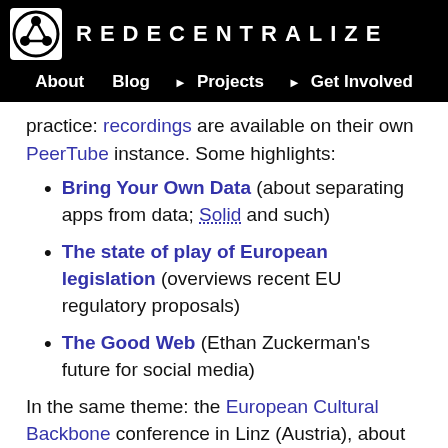REDECENTRALIZE — About  Blog  ▶ Projects  ▶ Get Involved
practice: recordings are available on their own PeerTube instance. Some highlights:
Bring Your Own Data (about separating apps from data; Solid and such)
The state of play of European legislation (overviews recent EU regulatory proposals)
The Good Web (Ethan Zuckerman's future for social media)
In the same theme: the European Cultural Backbone conference in Linz (Austria), about "federation of civil society media